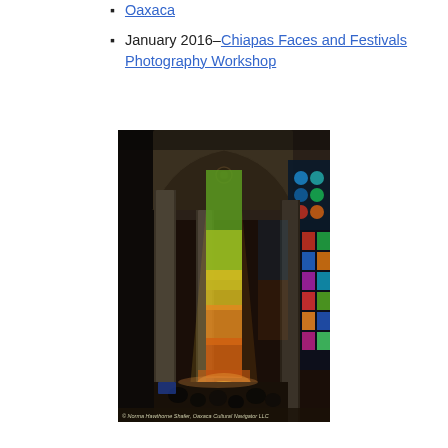Oaxaca
January 2016–Chiapas Faces and Festivals Photography Workshop
[Figure (photo): Interior of a cathedral (likely Sagrada Família) with tall stone columns, colorful stained glass windows on the right casting green, yellow, and orange light, visitors below. Copyright: Norma Hawthorne Shafer, Oaxaca Cultural Navigator LLC]
© Norma Hawthorne Shafer, Oaxaca Cultural Navigator LLC